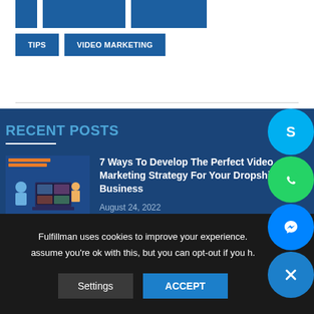TIPS
VIDEO MARKETING
RECENT POSTS
[Figure (illustration): Thumbnail image for blog post about video marketing strategy for dropshipping business]
7 Ways To Develop The Perfect Video Marketing Strategy For Your Dropshipping Business
August 24, 2022
Fulfillman uses cookies to improve your experience. assume you're ok with this, but you can opt-out if you h.